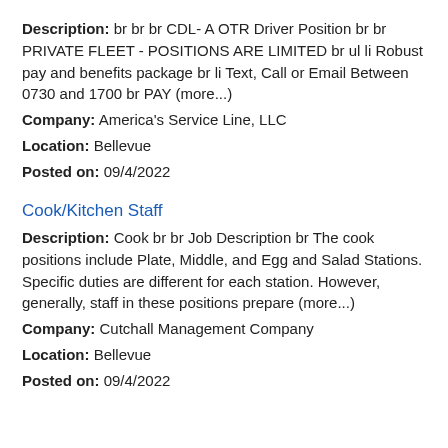Description: br br br CDL- A OTR Driver Position br br PRIVATE FLEET - POSITIONS ARE LIMITED br ul li Robust pay and benefits package br li Text, Call or Email Between 0730 and 1700 br PAY (more...)
Company: America's Service Line, LLC
Location: Bellevue
Posted on: 09/4/2022
Cook/Kitchen Staff
Description: Cook br br Job Description br The cook positions include Plate, Middle, and Egg and Salad Stations. Specific duties are different for each station. However, generally, staff in these positions prepare (more...)
Company: Cutchall Management Company
Location: Bellevue
Posted on: 09/4/2022